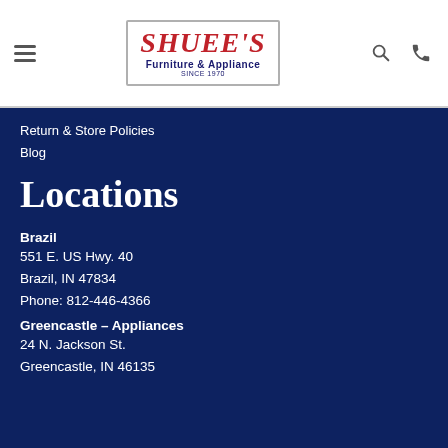[Figure (logo): Shuee's Furniture & Appliance logo with red italic text and navy subtitle, since 1970, inside a bordered rectangle]
Return & Store Policies
Blog
Locations
Brazil
551 E. US Hwy. 40
Brazil, IN 47834

Phone: 812-446-4366
Greencastle – Appliances
24 N. Jackson St.
Greencastle, IN 46135